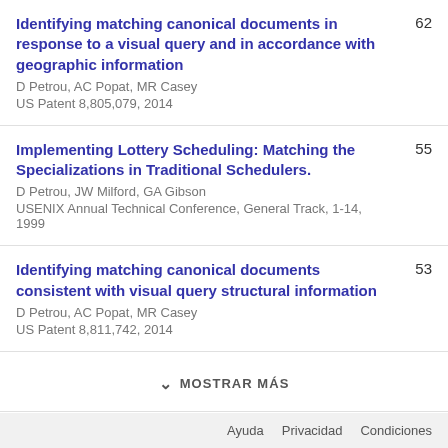Identifying matching canonical documents in response to a visual query and in accordance with geographic information
D Petrou, AC Popat, MR Casey
US Patent 8,805,079, 2014
62
Implementing Lottery Scheduling: Matching the Specializations in Traditional Schedulers.
D Petrou, JW Milford, GA Gibson
USENIX Annual Technical Conference, General Track, 1-14, 1999
55
Identifying matching canonical documents consistent with visual query structural information
D Petrou, AC Popat, MR Casey
US Patent 8,811,742, 2014
53
MOSTRAR MÁS
Ayuda   Privacidad   Condiciones